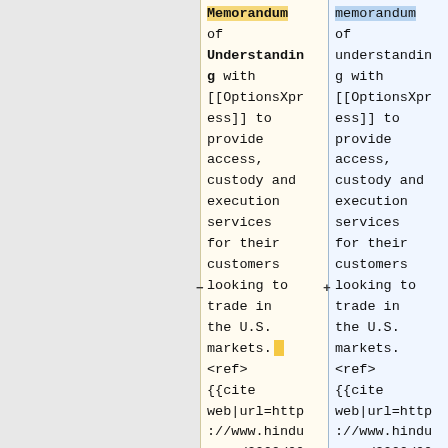Memorandum of Understanding with [[OptionsXpress]] to provide access, custody and execution services for their customers looking to trade in the U.S. markets. <ref>{{cite web|url=http://www.hindu.com/2000/00
memorandum of understanding with [[OptionsXpress]] to provide access, custody and execution services for their customers looking to trade in the U.S. markets. <ref>{{cite web|url=http://www.hindu.com/2000/00